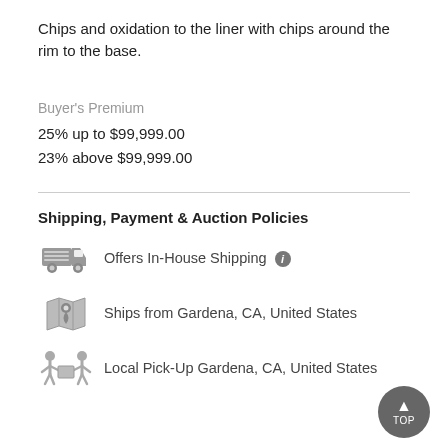Chips and oxidation to the liner with chips around the rim to the base.
Buyer's Premium
25% up to $99,999.00
23% above $99,999.00
Shipping, Payment & Auction Policies
Offers In-House Shipping
Ships from Gardena, CA, United States
Local Pick-Up Gardena, CA, United States